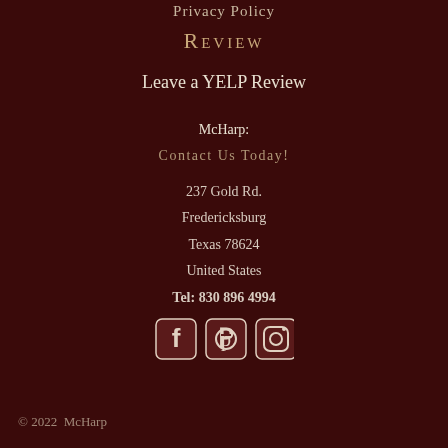Privacy Policy
Review
Leave a YELP Review
McHarp:
Contact Us Today!
237 Gold Rd.
Fredericksburg
Texas 78624
United States
Tel: 830 896 4994
[Figure (illustration): Social media icons: Facebook, Pinterest, Instagram]
© 2022  McHarp